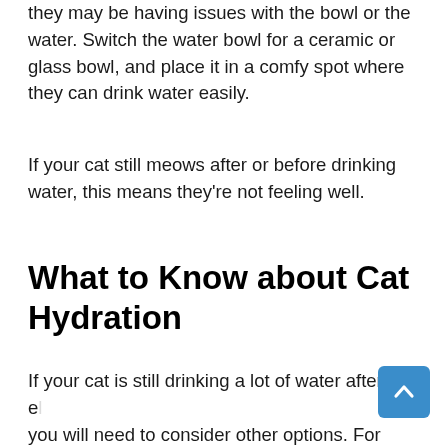they may be having issues with the bowl or the water. Switch the water bowl for a ceramic or glass bowl, and place it in a comfy spot where they can drink water easily.
If your cat still meows after or before drinking water, this means they're not feeling well.
What to Know about Cat Hydration
If your cat is still drinking a lot of water after all e… you will need to consider other options. For example, the food they eat may be over-salted. It could also